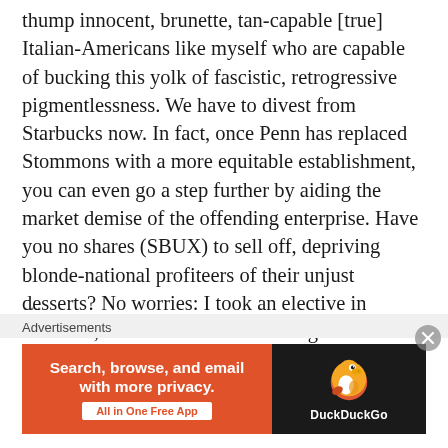thump innocent, brunette, tan-capable [true] Italian-Americans like myself who are capable of bucking this yolk of fascistic, retrogressive pigmentlessness. We have to divest from Starbucks now. In fact, once Penn has replaced Stommons with a more equitable establishment, you can even go a step further by aiding the market demise of the offending enterprise. Have you no shares (SBUX) to sell off, depriving blonde-national profiteers of their unjust desserts? No worries: I took an elective in Wharton, so I have inside knowledge. You can short sell the stock, leveraging a bet against its success. It'll help suppress the would-be cultural conquistadors' stock prices.
Advertisements
[Figure (other): DuckDuckGo advertisement banner: orange left panel with text 'Search, browse, and email with more privacy. All in One Free App' and dark right panel with DuckDuckGo duck logo and brand name.]